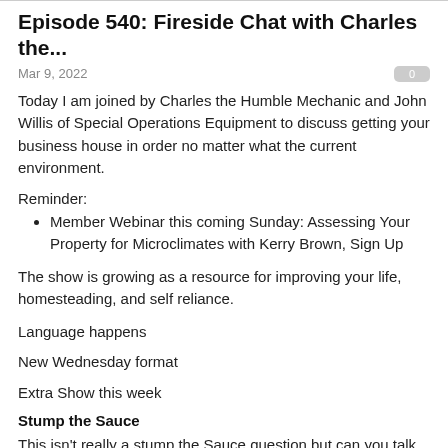Episode 540: Fireside Chat with Charles the...
Mar 9, 2022
Today I am joined by Charles the Humble Mechanic and John Willis of Special Operations Equipment to discuss getting your business house in order no matter what the current environment.
Reminder:
Member Webinar this coming Sunday: Assessing Your Property for Microclimates with Kerry Brown, Sign Up
The show is growing as a resource for improving your life, homesteading, and self reliance.
Language happens
New Wednesday format
Extra Show this week
Stump the Sauce
This isn't really a stump the Sauce question but can you talk more about vacuum bagging your dressed chickens? Pros, cons, and maybe what to look for like the size for whole birds, and what else you've found it useful for.